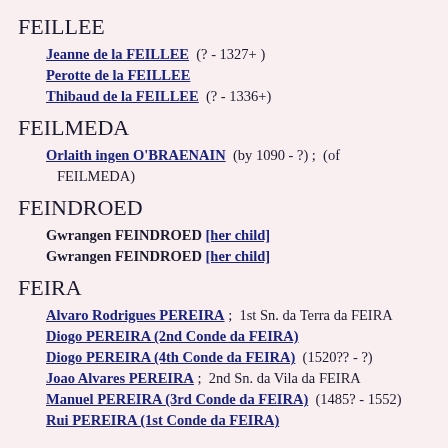FEILLEE
Jeanne de la FEILLEE  (? - 1327+ )
Perotte de la FEILLEE
Thibaud de la FEILLEE  (? - 1336+)
FEILMEDA
Orlaith ingen O'BRAENAIN  (by 1090 - ?) ;  (of FEILMEDA)
FEINDROED
Gwrangen FEINDROED [her child]
Gwrangen FEINDROED [her child]
FEIRA
Alvaro Rodrigues PEREIRA ;  1st Sn. da Terra da FEIRA
Diogo PEREIRA (2nd Conde da FEIRA)
Diogo PEREIRA (4th Conde da FEIRA)  (1520?? - ?)
Joao Alvares PEREIRA ;  2nd Sn. da Vila da FEIRA
Manuel PEREIRA (3rd Conde da FEIRA)  (1485? - 1552)
Rui PEREIRA (1st Conde da FEIRA)